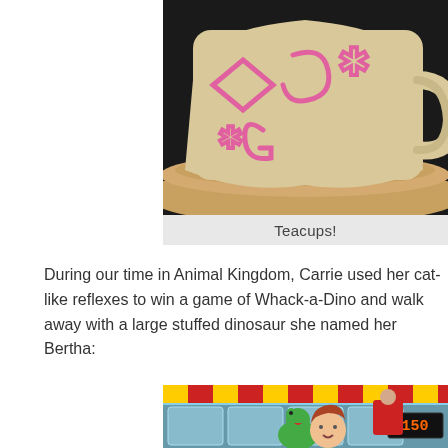[Figure (photo): Close-up photo of a large teacup ride car (beige/cream color with pink decorative symbols) on a spinning platform, set against a dark background. Partial view, cropped from a larger image.]
Teacups!
During our time in Animal Kingdom, Carrie used her cat-like reflexes to win a game of Whack-a-Dino and walk away with a large stuffed dinosaur she named her Bertha:
[Figure (photo): Photo of a smiling red-haired woman at a Whack-a-Dino carnival game booth, holding a large green stuffed dinosaur toy. The game booth has colorful decorations and a score display showing 150. Other people and a colorful fairground background are visible.]